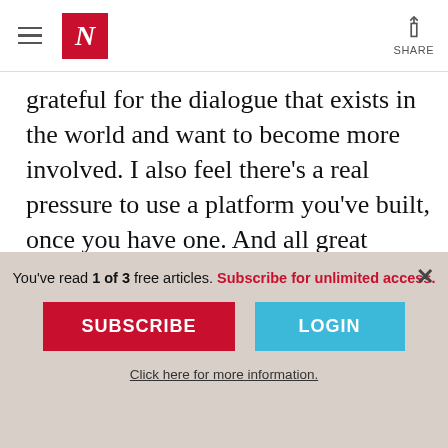The Nation — N logo and navigation header with SHARE button
grateful for the dialogue that exists in the world and want to become more involved. I also feel there’s a real pressure to use a platform you’ve built, once you have one. And all great artists, I think, have been involved in politics in some way.
RH: Could you say a little bit more about that
You’ve read 1 of 3 free articles. Subscribe for unlimited access.
SUBSCRIBE
LOGIN
Click here for more information.